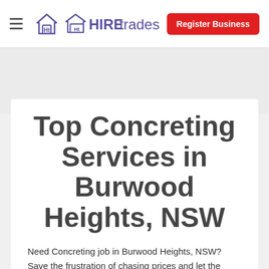HIREtrades — Register Business
Top Concreting Services in Burwood Heights, NSW
Need Concreting job in Burwood Heights, NSW? Save the frustration of chasing prices and let the tradies come to you.
Post your job on HIREtrades.com.au in just a few